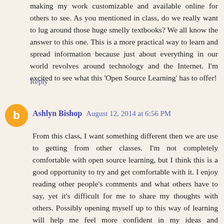making my work customizable and available online for others to see. As you mentioned in class, do we really want to lug around those huge smelly textbooks? We all know the answer to this one. This is a more practical way to learn and spread information because just about everything in our world revolves around technology and the Internet. I'm excited to see what this 'Open Source Learning' has to offer!
Reply
Ashlyn Bishop  August 12, 2014 at 6:56 PM
From this class, I want something different then we are use to getting from other classes. I'm not completely comfortable with open source learning, but I think this is a good opportunity to try and get comfortable with it. I enjoy reading other people's comments and what others have to say, yet it's difficult for me to share my thoughts with others. Possibly opening myself up to this way of learning will help me feel more confident in my ideas and comfortable with feeling vulnerable.
Reply